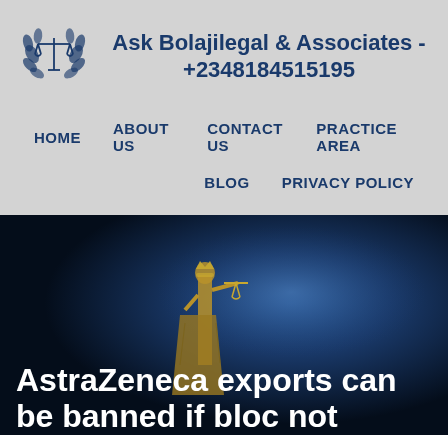Ask Bolajilegal & Associates - +2348184515195
HOME
ABOUT US
CONTACT US
PRACTICE AREA
BLOG
PRIVACY POLICY
[Figure (photo): Dark blue background with Lady Justice statue silhouette holding scales]
AstraZeneca exports can be banned if bloc not